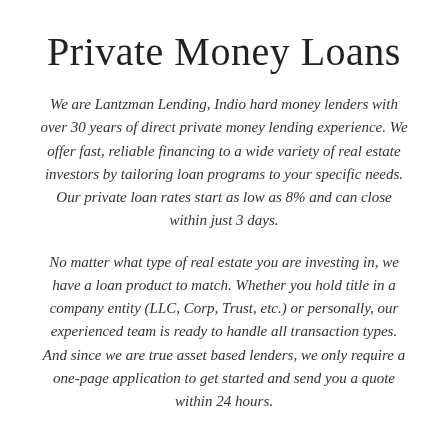Private Money Loans
We are Lantzman Lending, Indio hard money lenders with over 30 years of direct private money lending experience. We offer fast, reliable financing to a wide variety of real estate investors by tailoring loan programs to your specific needs. Our private loan rates start as low as 8% and can close within just 3 days.
No matter what type of real estate you are investing in, we have a loan product to match. Whether you hold title in a company entity (LLC, Corp, Trust, etc.) or personally, our experienced team is ready to handle all transaction types. And since we are true asset based lenders, we only require a one-page application to get started and send you a quote within 24 hours.
APPLY NOW